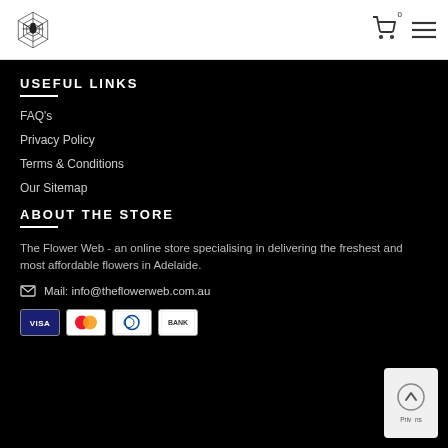The Flower Web logo, cart icon, menu icon
USEFUL LINKS
FAQ's
Privacy Policy
Terms & Conditions
Our Sitemap
ABOUT THE STORE
The Flower Web - an online store specialising in delivering the freshest and most affordable flowers in Adelaide.
Mail: info@theflowerweb.com.au
[Figure (logo): Payment method icons: VISA, Mastercard, Diners Club, BANK]